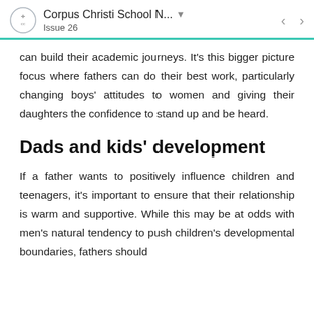Corpus Christi School N... Issue 26
can build their academic journeys. It’s this bigger picture focus where fathers can do their best work, particularly changing boys’ attitudes to women and giving their daughters the confidence to stand up and be heard.
Dads and kids’ development
If a father wants to positively influence children and teenagers, it’s important to ensure that their relationship is warm and supportive. While this may be at odds with men’s natural tendency to push children’s developmental boundaries, fathers should